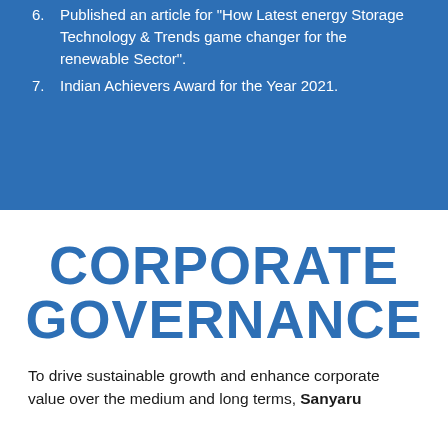6. Published an article for “How Latest energy Storage Technology & Trends game changer for the renewable Sector”.
7. Indian Achievers Award for the Year 2021.
CORPORATE GOVERNANCE
To drive sustainable growth and enhance corporate value over the medium and long terms, Sanyaru